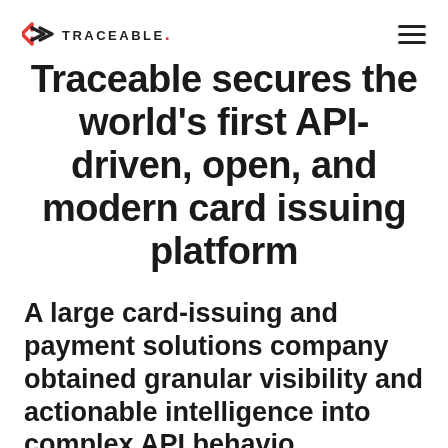TRACEABLE
Traceable secures the world's first API-driven, open, and modern card issuing platform
A large card-issuing and payment solutions company obtained granular visibility and actionable intelligence into complex API behavior